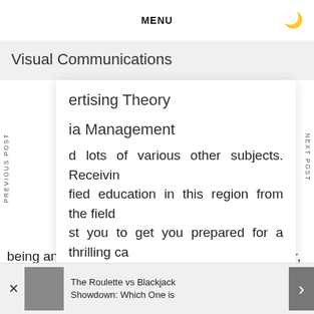MENU
Visual Communications
ertising Theory
ia Management
d lots of various other subjects. Receivin fied education in this region from the field st you to get you prepared for a thrilling ca
being an account executive, promotions manager, researching the market manager, creative director, media director, and lots of other professions. Begin
The Roulette vs Blackjack Showdown: Which One is